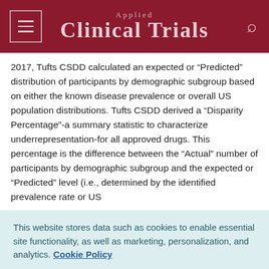Applied Clinical Trials
2017, Tufts CSDD calculated an expected or “Predicted” distribution of participants by demographic subgroup based on either the known disease prevalence or overall US population distributions. Tufts CSDD derived a “Disparity Percentage”-a summary statistic to characterize underrepresentation-for all approved drugs. This percentage is the difference between the “Actual” number of participants by demographic subgroup and the expected or “Predicted” level (i.e., determined by the identified prevalence rate or US
This website stores data such as cookies to enable essential site functionality, as well as marketing, personalization, and analytics. Cookie Policy
Accept
Deny